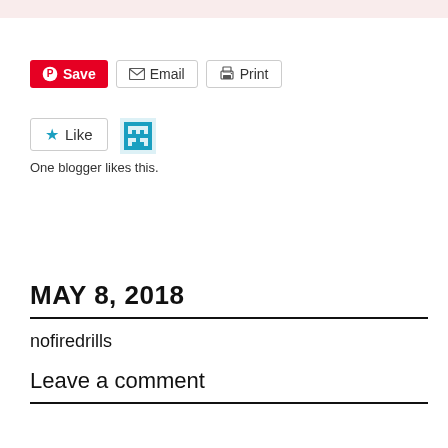[Figure (screenshot): Share buttons row: Save (Pinterest, red), Email (with envelope icon), Print (with printer icon)]
[Figure (screenshot): Like button with blue star icon and a blogger avatar icon. Text below reads: One blogger likes this.]
One blogger likes this.
MAY 8, 2018
nofiredrills
Leave a comment